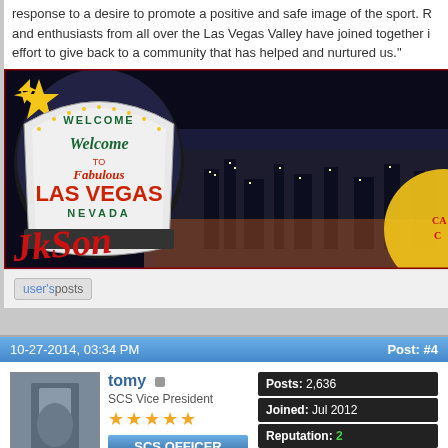response to a desire to promote a positive and safe image of the sport. Riders and enthusiasts from all over the Las Vegas Valley have joined together in an effort to give back to a community that has helped and nurtured us."
[Figure (photo): Welcome to Fabulous Las Vegas Nevada sign with Las Vegas Strip at night in background, with red graffiti-style text overlay reading 'Jason' (or similar)]
user's posts
10-27-2014, 03:34 PM   Post: #4
[Figure (photo): Avatar photo of forum user 'tomy']
tomy
SCS Vice President
★★★★★
SCS OFFICER
Posts: 2,636
Joined: Jul 2012
Reputation: 2
I Ride: gsxr 750
RE: TWT - Nevada Chicken Cafe - RAINBOW -215 7PM
In